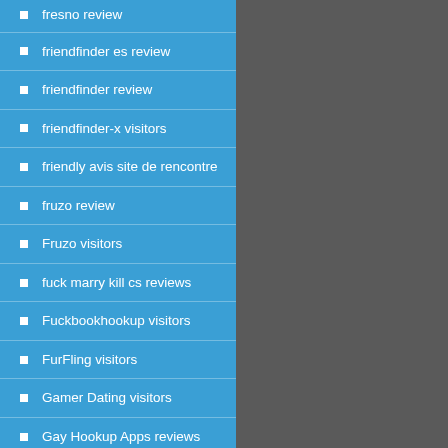fresno review
friendfinder es review
friendfinder review
friendfinder-x visitors
friendly avis site de rencontre
fruzo review
Fruzo visitors
fuck marry kill cs reviews
Fuckbookhookup visitors
FurFling visitors
Gamer Dating visitors
Gay Hookup Apps reviews
gaydar cs review